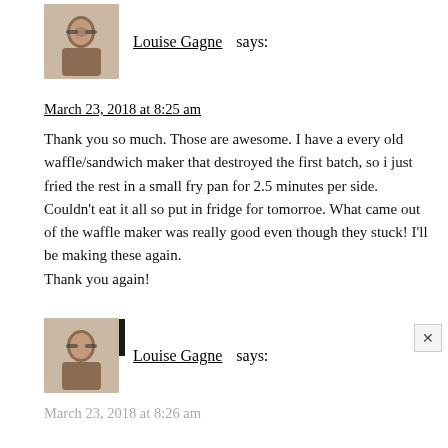[Figure (photo): Avatar photo of Louise Gagne - woman with glasses]
Louise Gagne says:
March 23, 2018 at 8:25 am
Thank you so much. Those are awesome. I have a every old waffle/sandwich maker that destroyed the first batch, so i just fried the rest in a small fry pan for 2.5 minutes per side. Couldn't eat it all so put in fridge for tomorroe. What came out of the waffle maker was really good even though they stuck! I'll be making these again.
Thank you again!
Reply
[Figure (photo): Avatar photo of Louise Gagne - woman with glasses]
Louise Gagne says:
March 23, 2018 at 8:26 am